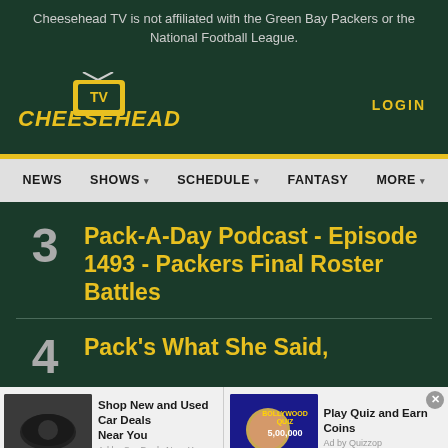Cheesehead TV is not affiliated with the Green Bay Packers or the National Football League.
[Figure (logo): Cheesehead TV logo with yellow stylized text and TV icon]
LOGIN
NEWS   SHOWS   SCHEDULE   FANTASY   MORE
3  Pack-A-Day Podcast - Episode 1493 - Packers Final Roster Battles
4  Pack's What She Said,
[Figure (infographic): Advertisement banner: Shop New and Used Car Deals Near You - Ad by Car Deals Near You, and Play Quiz and Earn Coins - Ad by Quizzop]